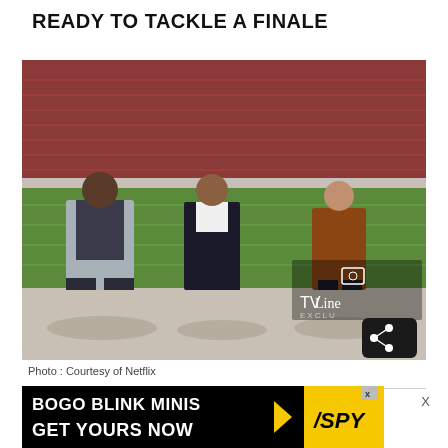READY TO TACKLE A FINALE
[Figure (photo): Three actors standing on a football stadium field — a tall man in a grey jacket on the left, a man in a dark suit in the center, and a woman in a brown coat on the right. Red stadium seats visible in background. TVLine EXCLUSIVE watermark and share icon overlay in lower right corner.]
Photo : Courtesy of Netflix
[Figure (screenshot): Advertisement banner reading 'BOGO BLINK MINIS GET YOURS NOW' on black background with SPY logo on yellow background on the right side.]